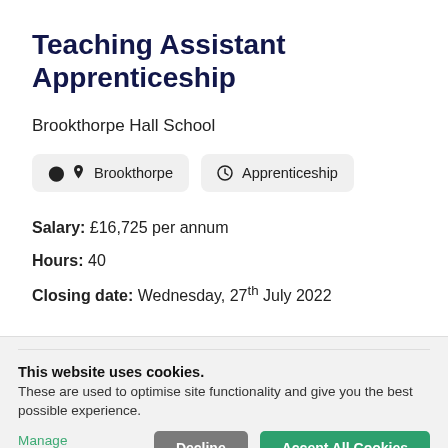Teaching Assistant Apprenticeship
Brookthorpe Hall School
Brookthorpe   Apprenticeship
Salary: £16,725 per annum
Hours: 40
Closing date: Wednesday, 27th July 2022
This website uses cookies. These are used to optimise site functionality and give you the best possible experience.
Manage Preferences...   Decline   Accept All Cookies